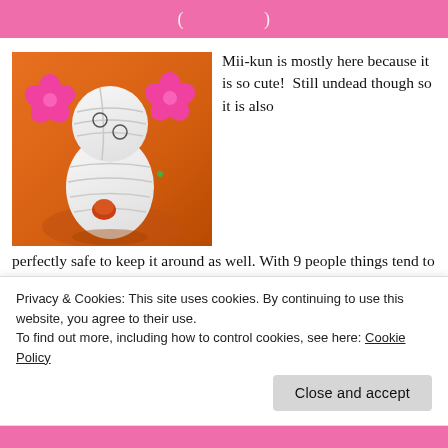( …page title… )
[Figure (illustration): Mii-kun character — a white mummy-like figure holding a small orange object, on an orange background with two pink flower shapes]
Mii-kun is mostly here because it is so cute!  Still undead though so it is also perfectly safe to keep it around as well. With 9 people things tend to get crowded so it is best to take this into account. Mii-kun takes no space, isn't
Privacy & Cookies: This site uses cookies. By continuing to use this website, you agree to their use.
To find out more, including how to control cookies, see here: Cookie Policy